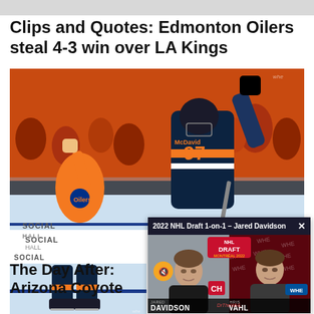Clips and Quotes: Edmonton Oilers steal 4-3 win over LA Kings
[Figure (photo): Hockey player wearing McDavid #97 Edmonton Oilers jersey celebrating with arm raised, fans in orange behind the glass]
[Figure (screenshot): 2022 NHL Draft 1-on-1 video popup with Jared Davidson and Chris Wahl, showing two people in split screen with draft logo, mute button visible]
The Day After: Arizona Coyote